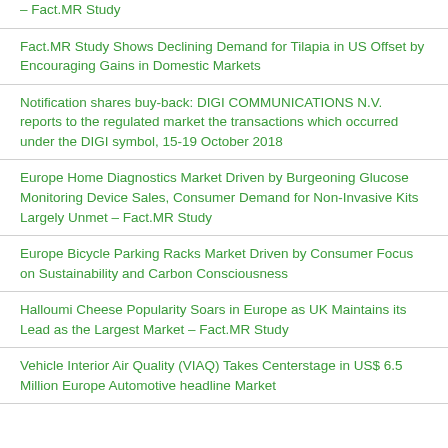– Fact.MR Study
Fact.MR Study Shows Declining Demand for Tilapia in US Offset by Encouraging Gains in Domestic Markets
Notification shares buy-back: DIGI COMMUNICATIONS N.V. reports to the regulated market the transactions which occurred under the DIGI symbol, 15-19 October 2018
Europe Home Diagnostics Market Driven by Burgeoning Glucose Monitoring Device Sales, Consumer Demand for Non-Invasive Kits Largely Unmet – Fact.MR Study
Europe Bicycle Parking Racks Market Driven by Consumer Focus on Sustainability and Carbon Consciousness
Halloumi Cheese Popularity Soars in Europe as UK Maintains its Lead as the Largest Market – Fact.MR Study
Vehicle Interior Air Quality (VIAQ) Takes Centerstage in US$ 6.5 Million Europe Automotive headline Market